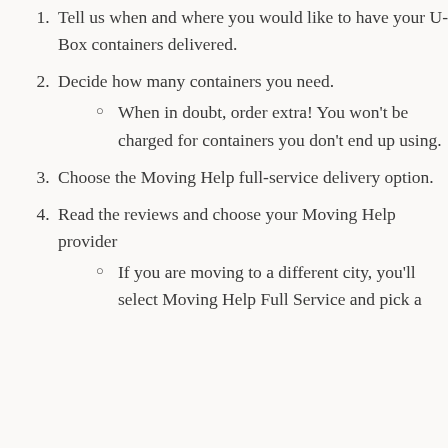Tell us when and where you would like to have your U-Box containers delivered.
Decide how many containers you need.
When in doubt, order extra! You won't be charged for containers you don't end up using.
Choose the Moving Help full-service delivery option.
Read the reviews and choose your Moving Help provider
If you are moving to a different city, you'll select Moving Help Full Service and pick a